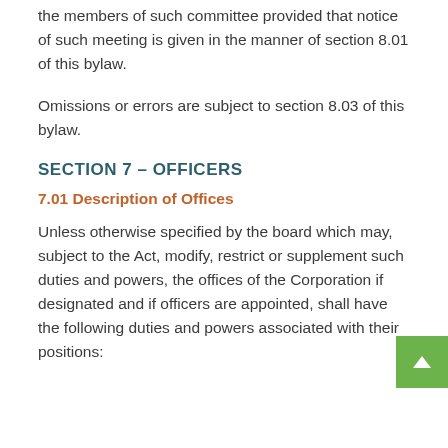the members of such committee provided that notice of such meeting is given in the manner of section 8.01 of this bylaw.
Omissions or errors are subject to section 8.03 of this bylaw.
SECTION 7 – OFFICERS
7.01 Description of Offices
Unless otherwise specified by the board which may, subject to the Act, modify, restrict or supplement such duties and powers, the offices of the Corporation if designated and if officers are appointed, shall have the following duties and powers associated with their positions: